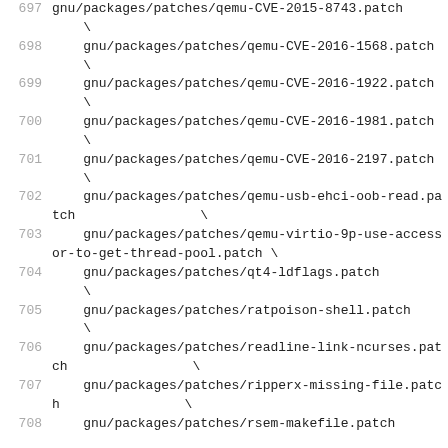697  gnu/packages/patches/qemu-CVE-2015-8743.patch
     \
698      gnu/packages/patches/qemu-CVE-2016-1568.patch
     \
699      gnu/packages/patches/qemu-CVE-2016-1922.patch
     \
700      gnu/packages/patches/qemu-CVE-2016-1981.patch
     \
701      gnu/packages/patches/qemu-CVE-2016-2197.patch
     \
702      gnu/packages/patches/qemu-usb-ehci-oob-read.patch                \
703      gnu/packages/patches/qemu-virtio-9p-use-accessor-to-get-thread-pool.patch \
704      gnu/packages/patches/qt4-ldflags.patch
     \
705      gnu/packages/patches/ratpoison-shell.patch
     \
706      gnu/packages/patches/readline-link-ncurses.patch                \
707      gnu/packages/patches/ripperx-missing-file.patch                \
708      gnu/packages/patches/rsem-makefile.patch